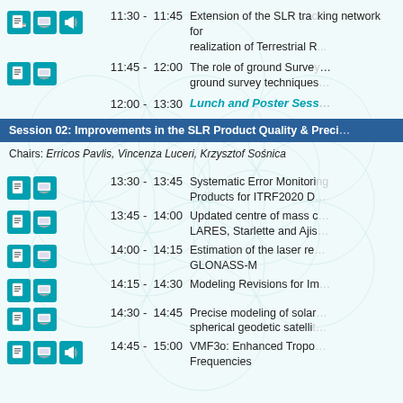11:30 - 11:45  Extension of the SLR tracking network for realization of Terrestrial R...
11:45 - 12:00  The role of ground Survey... ground survey techniques...
12:00 - 13:30  Lunch and Poster Sess...
Session 02: Improvements in the SLR Product Quality & Preci...
Chairs: Erricos Pavlis, Vincenza Luceri, Krzysztof Sośnica
13:30 - 13:45  Systematic Error Monitoring... Products for ITRF2020 D...
13:45 - 14:00  Updated centre of mass c... LARES, Starlette and Ajis...
14:00 - 14:15  Estimation of the laser re... GLONASS-M
14:15 - 14:30  Modeling Revisions for Im...
14:30 - 14:45  Precise modeling of solar... spherical geodetic satelli...
14:45 - 15:00  VMF3o: Enhanced Tropo... Frequencies